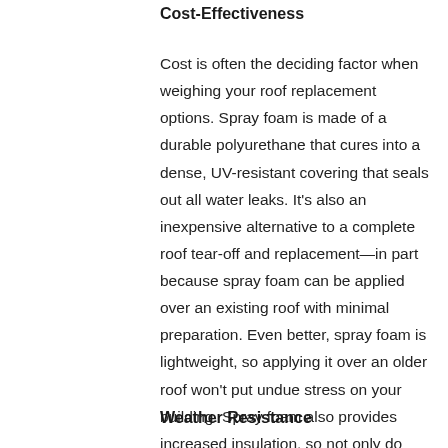Cost-Effectiveness
Cost is often the deciding factor when weighing your roof replacement options. Spray foam is made of a durable polyurethane that cures into a dense, UV-resistant covering that seals out all water leaks. It's also an inexpensive alternative to a complete roof tear-off and replacement—in part because spray foam can be applied over an existing roof with minimal preparation. Even better, spray foam is lightweight, so applying it over an older roof won't put undue stress on your building. Spray foam also provides increased insulation, so not only do you save on your roof replacement, but you also save on your ongoing energy bills.
Weather Resistance